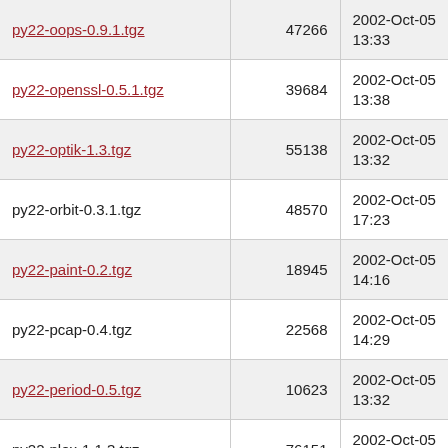| Filename | Size | Date |
| --- | --- | --- |
| py22-oops-0.9.1.tgz | 47266 | 2002-Oct-05 13:33 |
| py22-openssl-0.5.1.tgz | 39684 | 2002-Oct-05 13:38 |
| py22-optik-1.3.tgz | 55138 | 2002-Oct-05 13:32 |
| py22-orbit-0.3.1.tgz | 48570 | 2002-Oct-05 17:23 |
| py22-paint-0.2.tgz | 18945 | 2002-Oct-05 14:16 |
| py22-pcap-0.4.tgz | 22568 | 2002-Oct-05 14:29 |
| py22-period-0.5.tgz | 10623 | 2002-Oct-05 13:32 |
| py22-plex-1.1.3.tgz | 76151 | 2002-Oct-05 13:35 |
| py22-pmw-0.8.5.tgz | 516705 | 2002-Oct-05 23:31 |
| py22-pow-0.6.1.tgz | 92585 | 2002-Oct-05 13:38 |
| py22-pqueue-0.2.tgz | 6622 | 2002-Oct-05 13:33 |